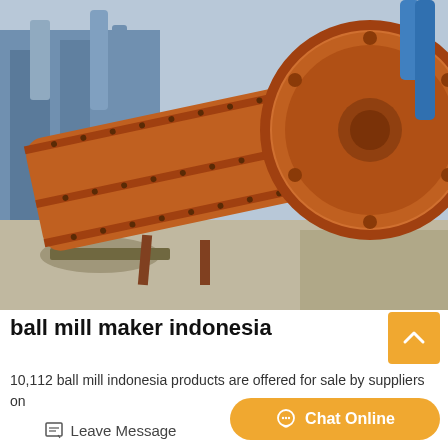[Figure (photo): Large industrial orange ball mill machine photographed outdoors at a factory or construction site in Indonesia. The cylindrical grinding mill body is orange/rusty-brown with bolted flanges, angled diagonally across the frame. Blue industrial structures visible in the background.]
ball mill maker indonesia
10,112 ball mill indonesia products are offered for sale by suppliers on
Leave Message
Chat Online